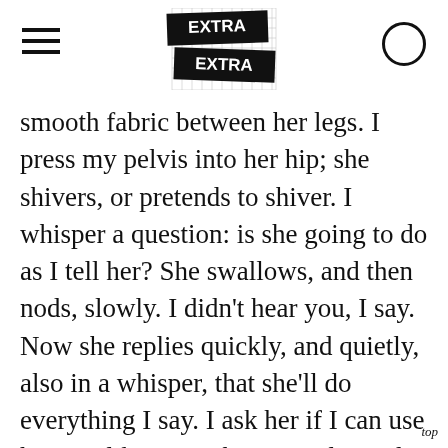EXTRA EXTRA
smooth fabric between her legs. I press my pelvis into her hip; she shivers, or pretends to shiver. I whisper a question: is she going to do as I tell her? She swallows, and then nods, slowly. I didn't hear you, I say. Now she replies quickly, and quietly, also in a whisper, that she'll do everything I say. I ask her if I can use her as I like. Yes, she says, please do whatever you want to me. Please. I grasp her more tightly, my hand between her legs, and
top